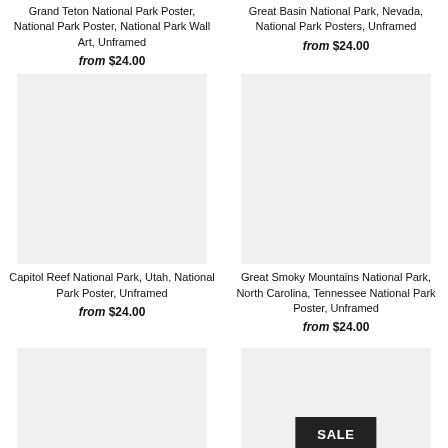Grand Teton National Park Poster, National Park Poster, National Park Wall Art, Unframed
from $24.00
Great Basin National Park, Nevada, National Park Posters, Unframed
from $24.00
[Figure (photo): Capitol Reef National Park poster product image placeholder]
Capitol Reef National Park, Utah, National Park Poster, Unframed
from $24.00
[Figure (photo): Great Smoky Mountains National Park poster product image placeholder]
Great Smoky Mountains National Park, North Carolina, Tennessee National Park Poster, Unframed
from $24.00
[Figure (photo): Bottom left product image placeholder]
[Figure (photo): Bottom right product image placeholder with SALE badge]
SALE